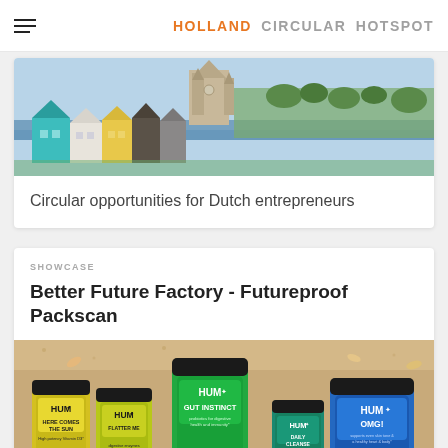HOLLAND CIRCULAR HOTSPOT
[Figure (photo): Aerial view of a colorful coastal town with a large cathedral and harbor in the background]
Circular opportunities for Dutch entrepreneurs
SHOWCASE
Better Future Factory - Futureproof Packscan
[Figure (photo): HUM nutrition supplement bottles arranged on a sandy surface, including Here Comes The Sun, Flatter Me, Gut Instinct, Daily Cleanse, and OMG products]